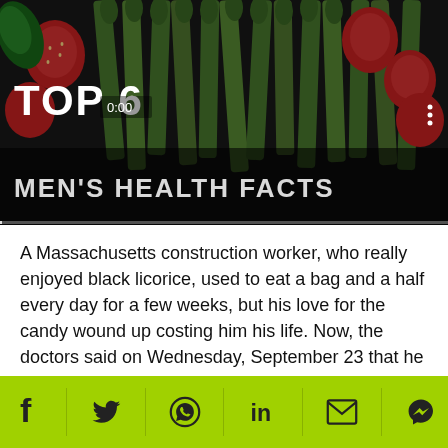[Figure (photo): Video thumbnail showing asparagus, strawberries, and basil leaves on a dark wooden surface. Overlay text reads 'TOP 6' and 'MEN'S HEALTH FACTS' with a timestamp of 0:00 and a progress bar.]
A Massachusetts construction worker, who really enjoyed black licorice, used to eat a bag and a half every day for a few weeks, but his love for the candy wound up costing him his life. Now, the doctors said on Wednesday, September 23 that he died because of the glycyrrhizic acid in the black licorice candy that unbalanced his nutrients and caused the heart failure.
Dr. Neel Butala, a cardiologist at Massachusetts General Hospital, described the case of the 54-year-old man in
[Figure (other): Green social sharing bar with icons for Facebook, Twitter, WhatsApp, LinkedIn, Email, and Messenger]